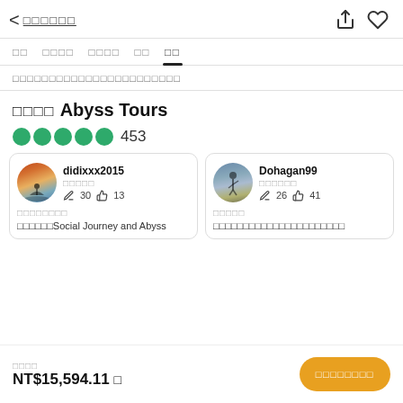< □□□□□□  [share] [heart]
□□  □□□□  □□□□  □□  □□
□□□□□□□□□□□□□□□□□□□□□□
□□□□ Abyss Tours
●●●●● 453
| Reviewer 1 | Reviewer 2 |
| --- | --- |
| didixxx2015  □□□□□  ✎30 👍13 | Dohagan99  □□□□□□  ✎26 👍41 |
| □□□□□□□□ | □□□□□ |
| □□□□□□Social Journey and Abyss | □□□□□□□□□□□□□□□□□□□□□□ |
□□□□  NT$15,594.11 □   [□□□□□□□□]